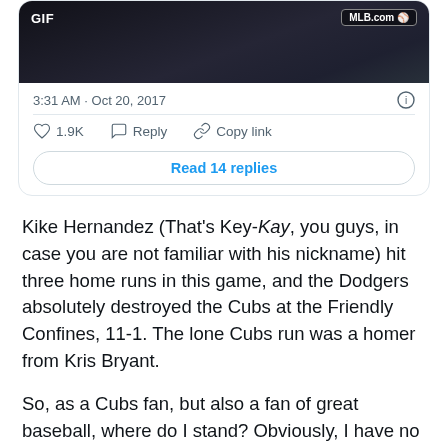[Figure (screenshot): Tweet card showing a GIF from MLB.com, timestamp 3:31 AM · Oct 20, 2017, with 1.9K likes, Reply and Copy link actions, and a Read 14 replies button]
Kike Hernandez (That's Key-Kay, you guys, in case you are not familiar with his nickname) hit three home runs in this game, and the Dodgers absolutely destroyed the Cubs at the Friendly Confines, 11-1. The lone Cubs run was a homer from Kris Bryant.
So, as a Cubs fan, but also a fan of great baseball, where do I stand? Obviously, I have no ill will against